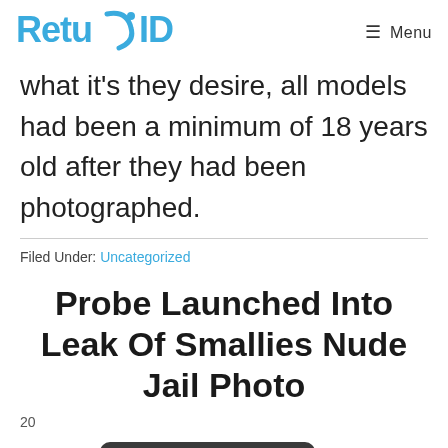ReturnID  ☰ Menu
what it's they desire, all models had been a minimum of 18 years old after they had been photographed.
Filed Under: Uncategorized
Probe Launched Into Leak Of Smallies Nude Jail Photo
20  Nederlands (België)